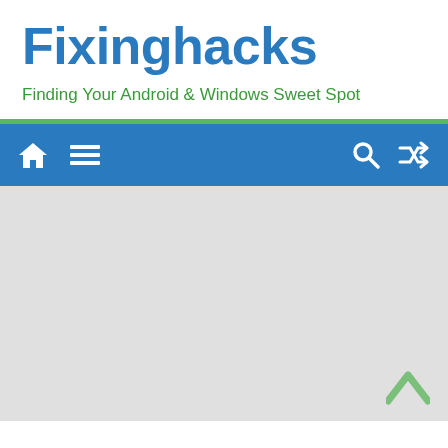Fixinghacks
Finding Your Android & Windows Sweet Spot
[Figure (screenshot): Navigation bar with home icon, hamburger menu icon on left, and search and shuffle icons on right, on blue background]
[Figure (other): Light grey content area with a green upward chevron arrow in bottom right corner]